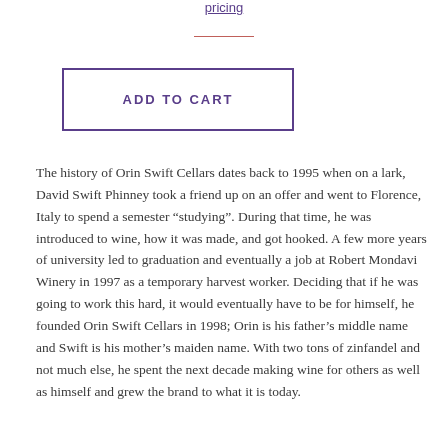pricing
ADD TO CART
The history of Orin Swift Cellars dates back to 1995 when on a lark, David Swift Phinney took a friend up on an offer and went to Florence, Italy to spend a semester “studying”. During that time, he was introduced to wine, how it was made, and got hooked. A few more years of university led to graduation and eventually a job at Robert Mondavi Winery in 1997 as a temporary harvest worker. Deciding that if he was going to work this hard, it would eventually have to be for himself, he founded Orin Swift Cellars in 1998; Orin is his father’s middle name and Swift is his mother’s maiden name. With two tons of zinfandel and not much else, he spent the next decade making wine for others as well as himself and grew the brand to what it is today.